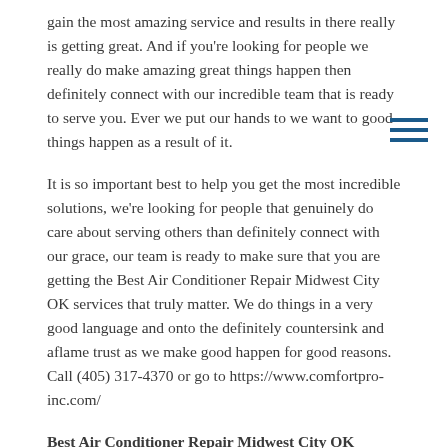gain the most amazing service and results in there really is getting great. And if you're looking for people we really do make amazing great things happen then definitely connect with our incredible team that is ready to serve you. Ever we put our hands to we want to good things happen as a result of it.
It is so important best to help you get the most incredible solutions, we're looking for people that genuinely do care about serving others than definitely connect with our grace, our team is ready to make sure that you are getting the Best Air Conditioner Repair Midwest City OK services that truly matter. We do things in a very good language and onto the definitely countersink and aflame trust as we make good happen for good reasons. Call (405) 317-4370 or go to https://www.comfortpro-inc.com/
Best Air Conditioner Repair Midwest City OK
When it comes to finding people that really are ready